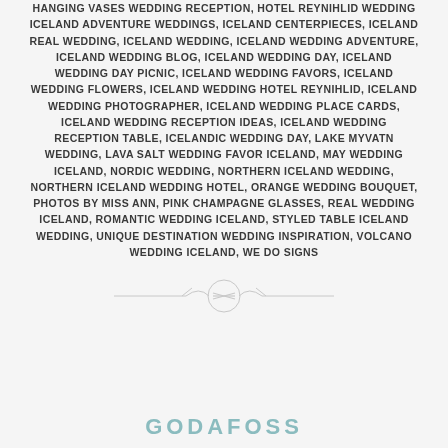HANGING VASES WEDDING RECEPTION, HOTEL REYNIHLID WEDDING ICELAND ADVENTURE WEDDINGS, ICELAND CENTERPIECES, ICELAND REAL WEDDING, ICELAND WEDDING, ICELAND WEDDING ADVENTURE, ICELAND WEDDING BLOG, ICELAND WEDDING DAY, ICELAND WEDDING DAY PICNIC, ICELAND WEDDING FAVORS, ICELAND WEDDING FLOWERS, ICELAND WEDDING HOTEL REYNIHLID, ICELAND WEDDING PHOTOGRAPHER, ICELAND WEDDING PLACE CARDS, ICELAND WEDDING RECEPTION IDEAS, ICELAND WEDDING RECEPTION TABLE, ICELANDIC WEDDING DAY, LAKE MYVATN WEDDING, LAVA SALT WEDDING FAVOR ICELAND, MAY WEDDING ICELAND, NORDIC WEDDING, NORTHERN ICELAND WEDDING, NORTHERN ICELAND WEDDING HOTEL, ORANGE WEDDING BOUQUET, PHOTOS BY MISS ANN, PINK CHAMPAGNE GLASSES, REAL WEDDING ICELAND, ROMANTIC WEDDING ICELAND, STYLED TABLE ICELAND WEDDING, UNIQUE DESTINATION WEDDING INSPIRATION, VOLCANO WEDDING ICELAND, WE DO SIGNS
[Figure (illustration): Decorative divider ornament with horizontal lines and a circular flourish motif in light gray]
GODAFOSS